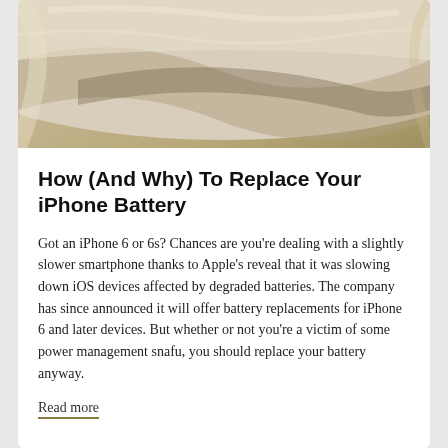[Figure (photo): Close-up photo of an iPhone with a curved back, showing the device's edges with a beige/golden background]
How (And Why) To Replace Your iPhone Battery
Got an iPhone 6 or 6s? Chances are you're dealing with a slightly slower smartphone thanks to Apple's reveal that it was slowing down iOS devices affected by degraded batteries. The company has since announced it will offer battery replacements for iPhone 6 and later devices. But whether or not you're a victim of some power management snafu, you should replace your battery anyway.
Read more